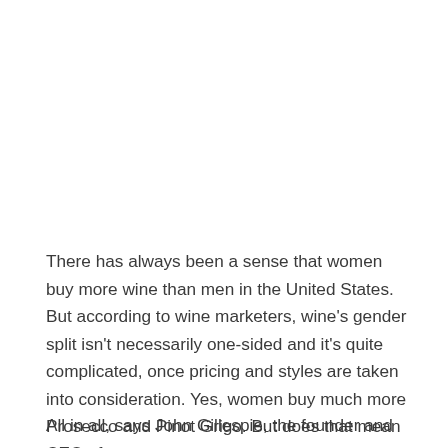There has always been a sense that women buy more wine than men in the United States. But according to wine marketers, wine's gender split isn't necessarily one-sided and it's quite complicated, once pricing and styles are taken into consideration. Yes, women buy much more Prosecco and Pinot Grigo. But does that mean men don't like wine at all?
All in all, says John Gillespie, the founder and CEO of